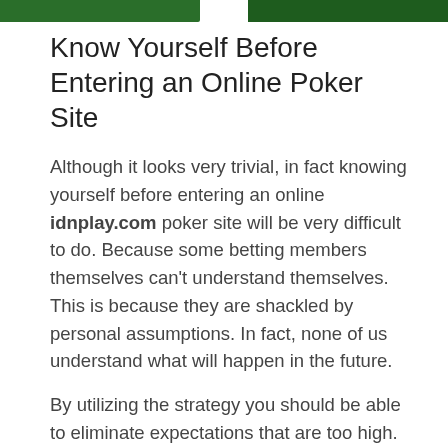[Figure (photo): Two green-toned images at the top of the page, side by side with a gap between them, partially cropped showing green background.]
Know Yourself Before Entering an Online Poker Site
Although it looks very trivial, in fact knowing yourself before entering an online idnplay.com poker site will be very difficult to do. Because some betting members themselves can't understand themselves. This is because they are shackled by personal assumptions. In fact, none of us understand what will happen in the future.
By utilizing the strategy you should be able to eliminate expectations that are too high. Thus, every transaction made will run objectively. By understanding yourself some of the things below you can apply